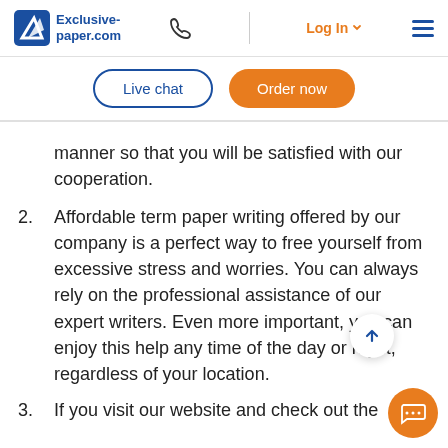Exclusive-paper.com | Live chat | Order now
manner so that you will be satisfied with our cooperation.
2. Affordable term paper writing offered by our company is a perfect way to free yourself from excessive stress and worries. You can always rely on the professional assistance of our expert writers. Even more important, you can enjoy this help any time of the day or night, regardless of your location.
3. If you visit our website and check out the